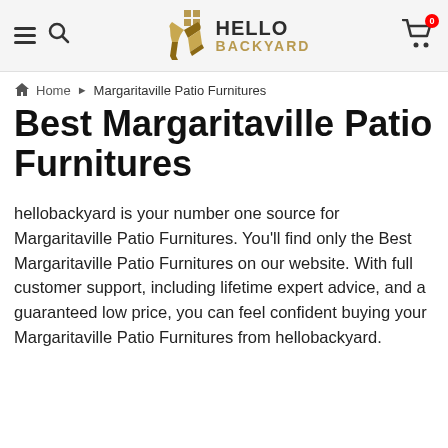[Figure (logo): Hello Backyard logo with chair icon, hamburger menu, search icon, and cart icon with badge showing 0]
Home › Margaritaville Patio Furnitures
Best Margaritaville Patio Furnitures
hellobackyard is your number one source for Margaritaville Patio Furnitures. You'll find only the Best Margaritaville Patio Furnitures on our website. With full customer support, including lifetime expert advice, and a guaranteed low price, you can feel confident buying your Margaritaville Patio Furnitures from hellobackyard.